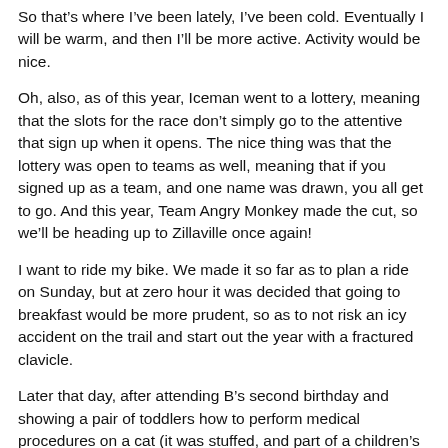So that's where I've been lately, I've been cold. Eventually I will be warm, and then I'll be more active. Activity would be nice.
Oh, also, as of this year, Iceman went to a lottery, meaning that the slots for the race don't simply go to the attentive that sign up when it opens. The nice thing was that the lottery was open to teams as well, meaning that if you signed up as a team, and one name was drawn, you all get to go. And this year, Team Angry Monkey made the cut, so we'll be heading up to Zillaville once again!
I want to ride my bike. We made it so far as to plan a ride on Sunday, but at zero hour it was decided that going to breakfast would be more prudent, so as to not risk an icy accident on the trail and start out the year with a fractured clavicle.
Later that day, after attending B's second birthday and showing a pair of toddlers how to perform medical procedures on a cat (it was stuffed, and part of a children's